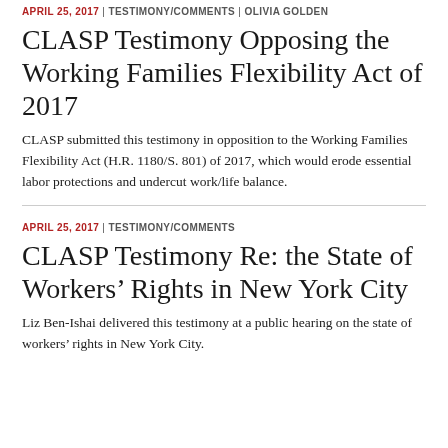APRIL 25, 2017 | TESTIMONY/COMMENTS | OLIVIA GOLDEN
CLASP Testimony Opposing the Working Families Flexibility Act of 2017
CLASP submitted this testimony in opposition to the Working Families Flexibility Act (H.R. 1180/S. 801) of 2017, which would erode essential labor protections and undercut work/life balance.
APRIL 25, 2017 | TESTIMONY/COMMENTS
CLASP Testimony Re: the State of Workers' Rights in New York City
Liz Ben-Ishai delivered this testimony at a public hearing on the state of workers' rights in New York City.